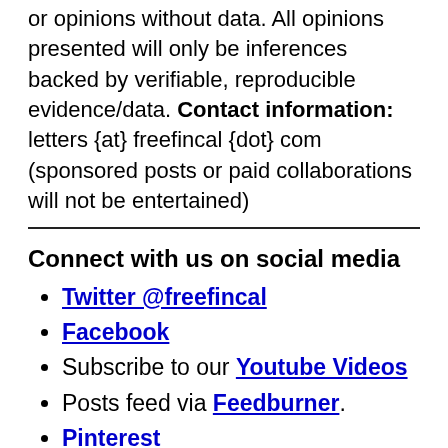or opinions without data. All opinions presented will only be inferences backed by verifiable, reproducible evidence/data. Contact information: letters {at} freefincal {dot} com (sponsored posts or paid collaborations will not be entertained)
Connect with us on social media
Twitter @freefincal
Facebook
Subscribe to our Youtube Videos
Posts feed via Feedburner.
Pinterest